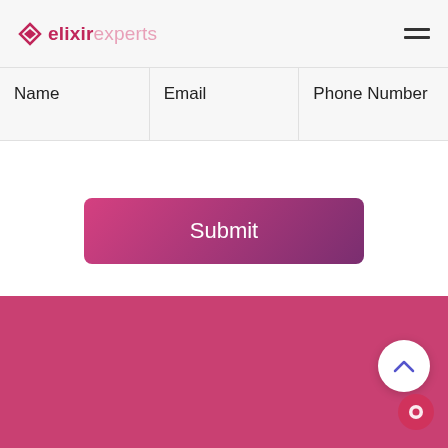elixirexperts [hamburger menu icon]
Name
Email
Phone Number
Submit
[Figure (other): Pink/rose colored footer section with a white circular scroll-to-top button (chevron up arrow) and a red/pink circular chat button]